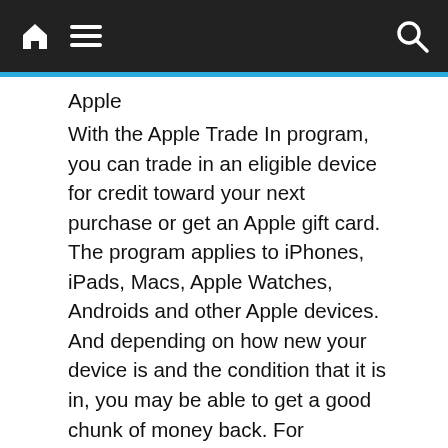Navigation bar with home, menu, and search icons
Apple
With the Apple Trade In program, you can trade in an eligible device for credit toward your next purchase or get an Apple gift card. The program applies to iPhones, iPads, Macs, Apple Watches, Androids and other Apple devices. And depending on how new your device is and the condition that it is in, you may be able to get a good chunk of money back. For example, if you trade in the iPhone 12 Pro Max, you can get up to $790 back.
[Figure (photo): Best Buy store exterior with blue signage and yellow Best Buy tag logo. A cookie consent overlay partially covers the image reading: We use cookies to ensure that we give you the best experience on our website. If you continue to use this site we will assume that you are happy with it.]
We use cookies to ensure that we give you the best experience on our website. If you continue to use this site we will assume that you are happy with it.